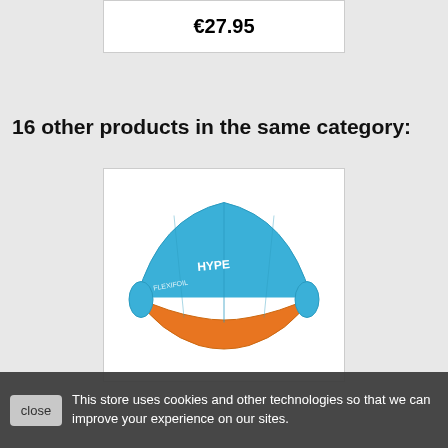€27.95
16 other products in the same category:
[Figure (photo): A blue and orange kite (Hype brand) displayed against a white background inside a product card]
This store uses cookies and other technologies so that we can improve your experience on our sites.